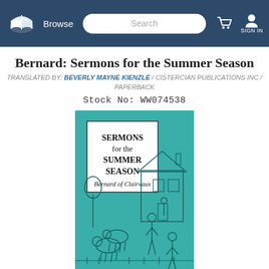Browse | Search | SIGN IN
Bernard: Sermons for the Summer Season
TRANSLATED BY: BEVERLY MAYNE KIENZLE / CISTERCIAN PUBLICATIONS INC / PAPERBACK
Stock No: WW074538
[Figure (photo): Book cover of 'Sermons for the Summer Season' by Bernard of Clairvaux, teal/green background with black line art of a medieval rural scene with people, animals, and a house. White box in upper left with title text.]